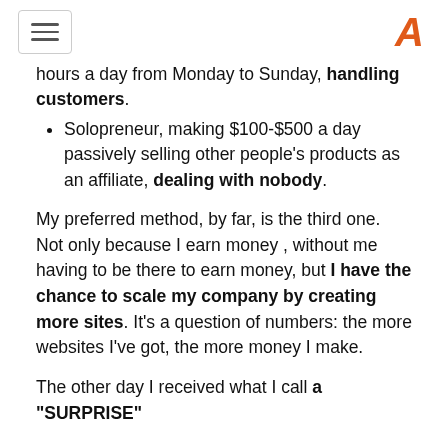[hamburger menu] [A logo]
hours a day from Monday to Sunday, handling customers.
Solopreneur, making $100-$500 a day passively selling other people's products as an affiliate, dealing with nobody.
My preferred method, by far, is the third one. Not only because I earn money , without me having to be there to earn money, but I have the chance to scale my company by creating more sites. It's a question of numbers: the more websites I've got, the more money I make.
The other day I received what I call a "SURPRISE"